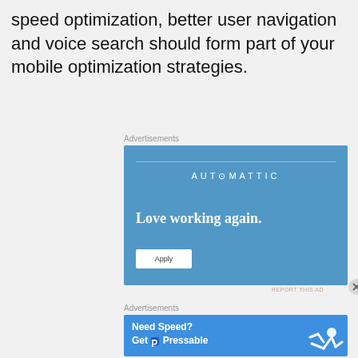speed optimization, better user navigation and voice search should form part of your mobile optimization strategies.
Advertisements
[Figure (infographic): Automattic advertisement with blue background, company name at top, tagline 'Love working again.' and an Apply button]
REPORT THIS AD
Advertisements
[Figure (infographic): Pressable advertisement with blue background showing 'Need Speed? Get P Pressable' text and a person diving/jumping illustration]